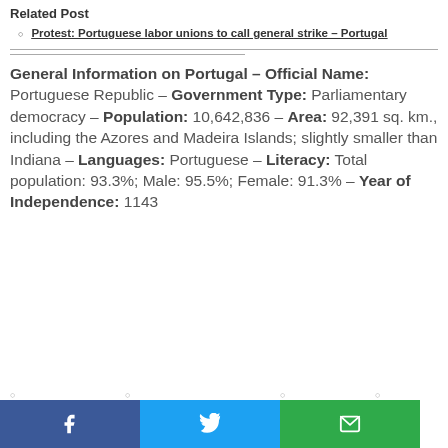Related Post
Protest: Portuguese labor unions to call general strike – Portugal
General Information on Portugal – Official Name: Portuguese Republic – Government Type: Parliamentary democracy – Population: 10,642,836 – Area: 92,391 sq. km., including the Azores and Madeira Islands; slightly smaller than Indiana – Languages: Portuguese – Literacy: Total population: 93.3%; Male: 95.5%; Female: 91.3% – Year of Independence: 1143
[Figure (infographic): Social share buttons row: Facebook (blue), Twitter (light blue), Email (green), each with icon]